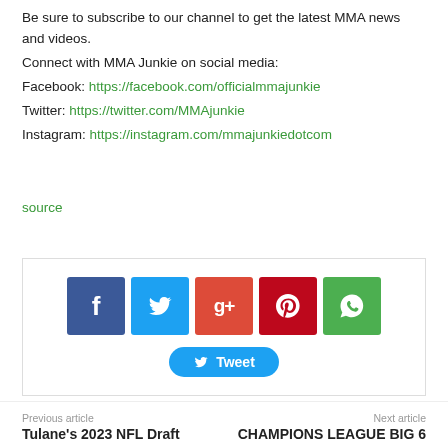Be sure to subscribe to our channel to get the latest MMA news and videos.
Connect with MMA Junkie on social media:
Facebook: https://facebook.com/officialmmajunkie
Twitter: https://twitter.com/MMAjunkie
Instagram: https://instagram.com/mmajunkiedotcom
source
[Figure (infographic): Social media share buttons: Facebook (blue), Twitter (light blue), Google+ (red-orange), Pinterest (dark red), WhatsApp (green), and a Tweet button in blue pill shape.]
Previous article
Tulane's 2023 NFL Draft
Next article
CHAMPIONS LEAGUE BIG 6